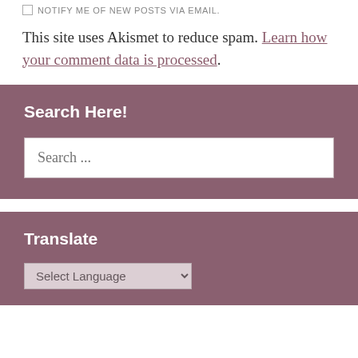☐ NOTIFY ME OF NEW POSTS VIA EMAIL.
This site uses Akismet to reduce spam. Learn how your comment data is processed.
Search Here!
Search ...
Translate
Select Language